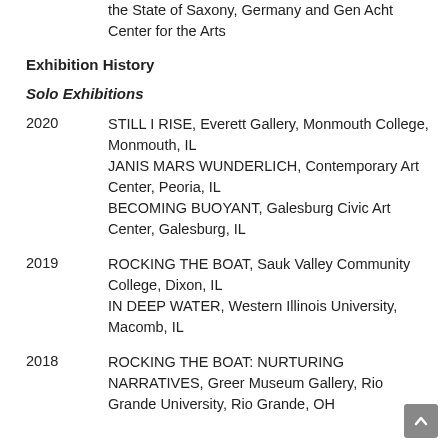the State of Saxony, Germany and Gen Acht Center for the Arts
Exhibition History
Solo Exhibitions
2020 — STILL I RISE, Everett Gallery, Monmouth College, Monmouth, IL; JANIS MARS WUNDERLICH, Contemporary Art Center, Peoria, IL; BECOMING BUOYANT, Galesburg Civic Art Center, Galesburg, IL
2019 — ROCKING THE BOAT, Sauk Valley Community College, Dixon, IL; IN DEEP WATER, Western Illinois University, Macomb, IL
2018 — ROCKING THE BOAT: NURTURING NARRATIVES, Greer Museum Gallery, Rio Grande University, Rio Grande, OH